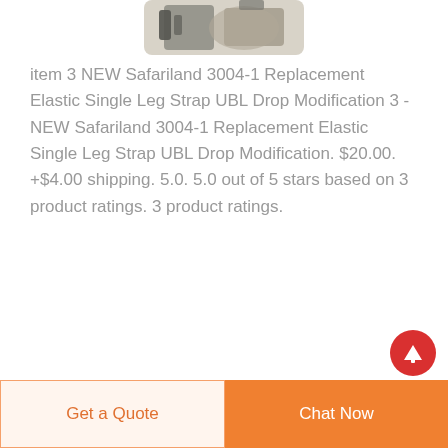[Figure (photo): Partial product image of a Safariland holster/strap accessory, cropped at the top of the page]
item 3 NEW Safariland 3004-1 Replacement Elastic Single Leg Strap UBL Drop Modification 3 -NEW Safariland 3004-1 Replacement Elastic Single Leg Strap UBL Drop Modification. $20.00. +$4.00 shipping. 5.0. 5.0 out of 5 stars based on 3 product ratings. 3 product ratings.
Get a Quote
Chat Now